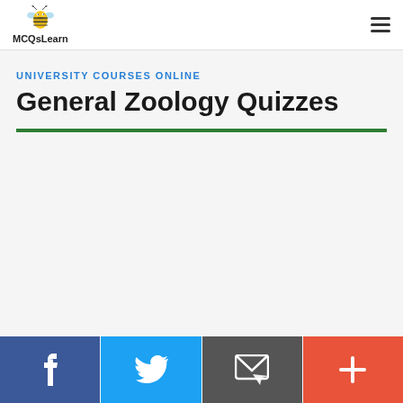MCQsLearn
UNIVERSITY COURSES ONLINE
General Zoology Quizzes
[Figure (other): Social media share bar with Facebook, Twitter, Email, and Plus buttons at the bottom of the page]